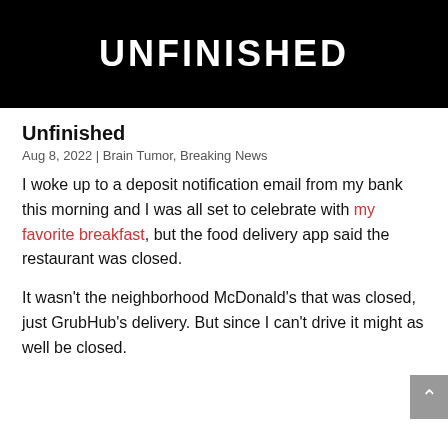[Figure (photo): Black background hero image with large white bold uppercase text 'UNFINISHED']
Unfinished
Aug 8, 2022 | Brain Tumor, Breaking News
I woke up to a deposit notification email from my bank this morning and I was all set to celebrate with my favorite breakfast, but the food delivery app said the restaurant was closed.
It wasn't the neighborhood McDonald's that was closed, just GrubHub's delivery. But since I can't drive it might as well be closed.